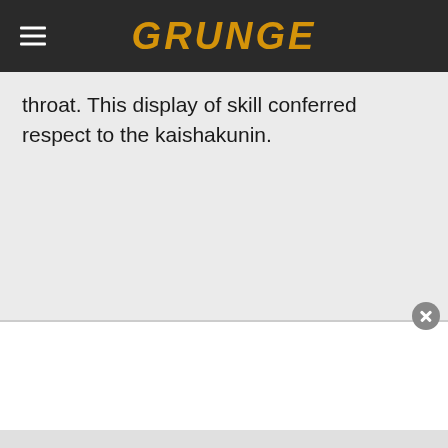GRUNGE
throat. This display of skill conferred respect to the kaishakunin.
[Figure (other): Advertisement overlay with close button at bottom of page]